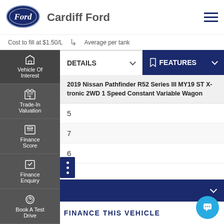[Figure (logo): Ford oval logo in dark blue]
Cardiff Ford
Cost to fill at $1.50/L    Average per tank
Vehicle Of Interest
Trade-In Valuation
Finance Score
Finance Enquiry
Book A Test Drive
DETAILS
FEATURES
2019 Nissan Pathfinder R52 Series III MY19 ST X-tronic 2WD 1 Speed Constant Variable Wagon
5
7
6
CONTACT US
FINANCE THIS VEHICLE